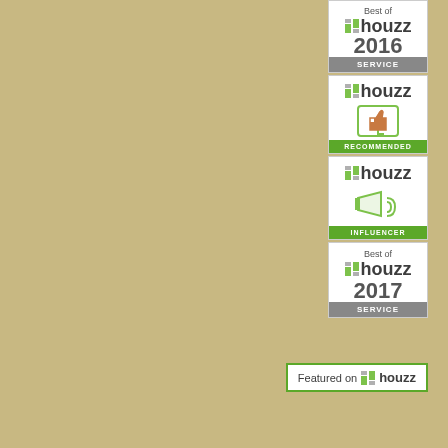[Figure (logo): Best of Houzz 2016 Service badge - white badge with houzz logo and year 2016, gray SERVICE bar at bottom]
[Figure (logo): Houzz Recommended badge - white badge with houzz logo and thumbs-up icon, green RECOMMENDED bar at bottom]
[Figure (logo): Houzz Influencer badge - white badge with houzz logo and megaphone icon, green INFLUENCER bar at bottom]
[Figure (logo): Best of Houzz 2017 Service badge - white badge with houzz logo and year 2017, gray SERVICE bar at bottom]
[Figure (logo): Featured on houzz badge - white rectangle with green border, houzz logo icon]